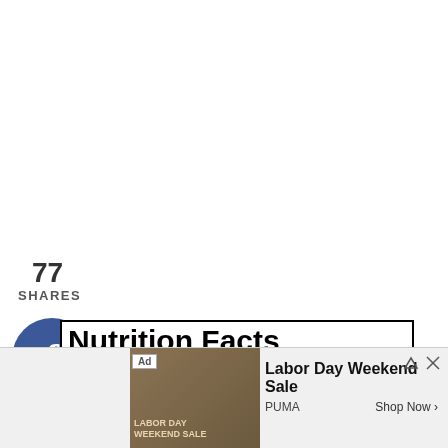77
SHARES
[Figure (illustration): Facebook share button - dark blue circle with white 'f' logo]
[Figure (illustration): Twitter share button - cyan circle with white bird logo]
[Figure (illustration): Pinterest share button - red circle with white 'P' logo and count '77']
[Figure (illustration): Yummly share button - orange circle with 'Yum' script text]
[Figure (screenshot): Nutrition Facts panel for Rice Cooker Quinoa Mushroom Pilaf showing Amount Per Serving, Calories 222, Calories from Fat 54, Fat 6g (partially visible), with thick black divider bars]
[Figure (illustration): Advertisement banner: Labor Day Weekend Sale - PUMA, with Shop Now button and ad image showing person in PUMA gear]